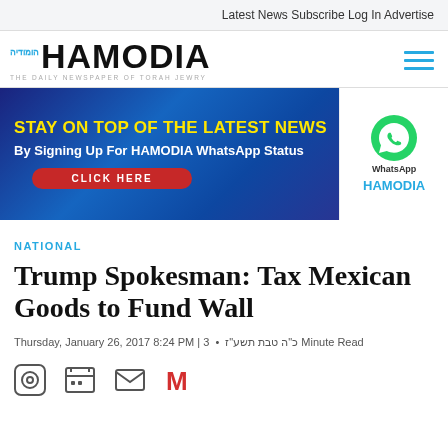Latest News   Subscribe   Log In   Advertise
[Figure (logo): Hamodia newspaper logo with Hebrew text and tagline 'THE DAILY NEWSPAPER OF TORAH JEWRY']
[Figure (infographic): Advertisement banner: STAY ON TOP OF THE LATEST NEWS By Signing Up For HAMODIA WhatsApp Status CLICK HERE, with WhatsApp icon and HAMODIA branding]
NATIONAL
Trump Spokesman: Tax Mexican Goods to Fund Wall
Thursday, January 26, 2017 8:24 PM | כ"ה טבת תשע"ז  •  3 Minute Read
[Figure (illustration): Social sharing icons: WhatsApp, print, email, Gmail]